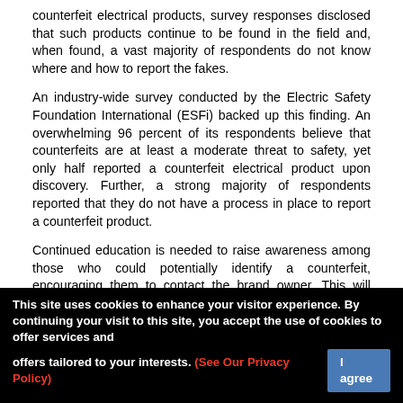counterfeit electrical products, survey responses disclosed that such products continue to be found in the field and, when found, a vast majority of respondents do not know where and how to report the fakes.
An industry-wide survey conducted by the Electric Safety Foundation International (ESFi) backed up this finding. An overwhelming 96 percent of its respondents believe that counterfeits are at least a moderate threat to safety, yet only half reported a counterfeit electrical product upon discovery. Further, a strong majority of respondents reported that they do not have a process in place to report a counterfeit product.
Continued education is needed to raise awareness among those who could potentially identify a counterfeit, encouraging them to contact the brand owner. This will allow authentication of suspect products and ensure that potentially unsafe products are removed from the market place. To report a suspected counterfeit product contact Eaton at
This site uses cookies to enhance your visitor experience. By continuing your visit to this site, you accept the use of cookies to offer services and offers tailored to your interests. (See Our Privacy Policy)  I agree